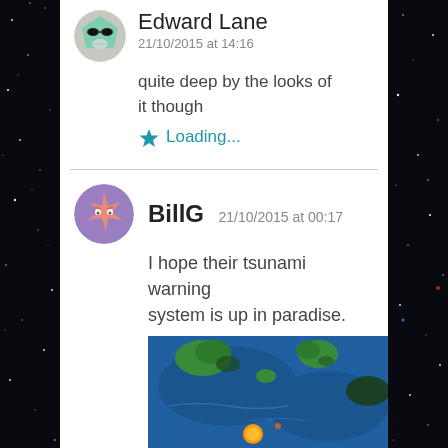Edward Lane
21/10/2015 at 14:16
quite deep by the looks of it though
Loading...
BillG  21/10/2015 at 00:17
I hope their tsunami warning system is up in paradise.
[Figure (photo): Blue ocean/water topographic map showing islands viewed from above, with green landmasses and an orange circular marker]